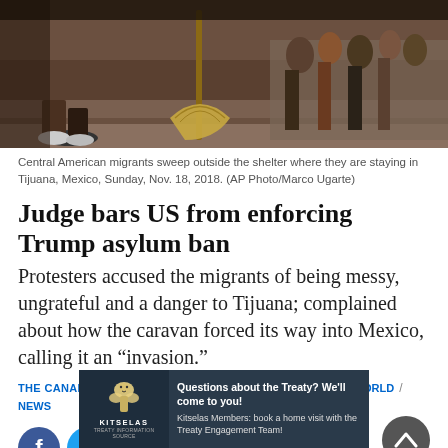[Figure (photo): Central American migrants sweeping outside a shelter, showing feet, brooms, and a crowd in the background. Tijuana, Mexico, Nov. 18, 2018.]
Central American migrants sweep outside the shelter where they are staying in Tijuana, Mexico, Sunday, Nov. 18, 2018. (AP Photo/Marco Ugarte)
Judge bars US from enforcing Trump asylum ban
Protesters accused the migrants of being messy, ungrateful and a danger to Tijuana; complained about how the caravan forced its way into Mexico, calling it an “invasion.”
THE CANADIAN PRESS / Nov. 20, 2018 7:10 a.m. / CANADA & WORLD / NEWS
[Figure (infographic): Social sharing icons: Facebook, Twitter, Reddit, Email, Print, Comment, Gallery. Scroll-to-top button on the right.]
[Figure (infographic): Advertisement banner for Kitselas Treaty Information Source: Questions about the Treaty? We'll come to you! Kitselas Members: book a home visit with the Treaty Engagement Team!]